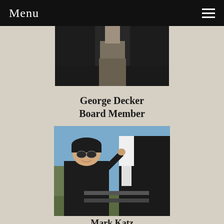Menu
[Figure (photo): Partial photo of a person standing, lower body visible, in front of a dark background]
George Decker
Board Member
[Figure (photo): Man wearing sunglasses and a black beanie hat, smiling, next to a dark horse with a white blaze, outdoors with blue sky]
Mark Katz